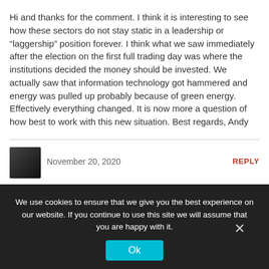Hi and thanks for the comment. I think it is interesting to see how these sectors do not stay static in a leadership or “laggership” position forever. I think what we saw immediately after the election on the first full trading day was where the institutions decided the money should be invested. We actually saw that information technology got hammered and energy was pulled up probably because of green energy. Effectively everything changed. It is now more a question of how best to work with this new situation. Best regards, Andy
November 20, 2020
REPLY
We use cookies to ensure that we give you the best experience on our website. If you continue to use this site we will assume that you are happy with it.